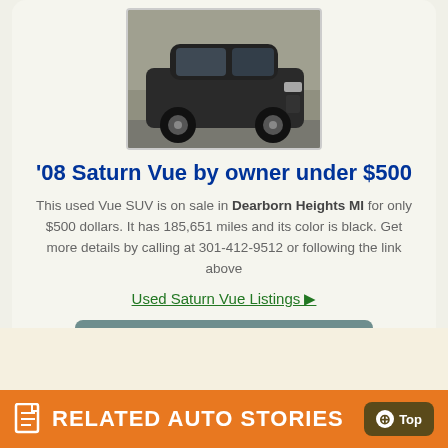[Figure (photo): Black Saturn Vue SUV parked outdoors, front three-quarter view]
'08 Saturn Vue by owner under $500
This used Vue SUV is on sale in Dearborn Heights MI for only $500 dollars. It has 185,651 miles and its color is black. Get more details by calling at 301-412-9512 or following the link above
Used Saturn Vue Listings
SUVS ON SALE ▶
RELATED AUTO STORIES